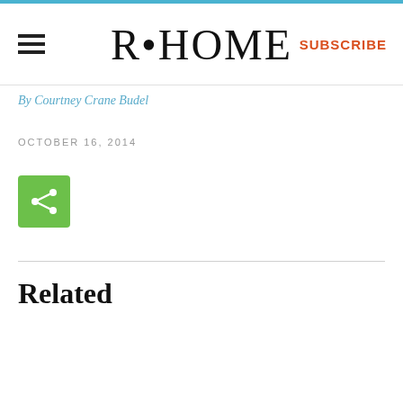R•HOME | SUBSCRIBE
By Courtney Crane Budel
OCTOBER 16, 2014
[Figure (other): Green share/social media button with white share icon]
Related